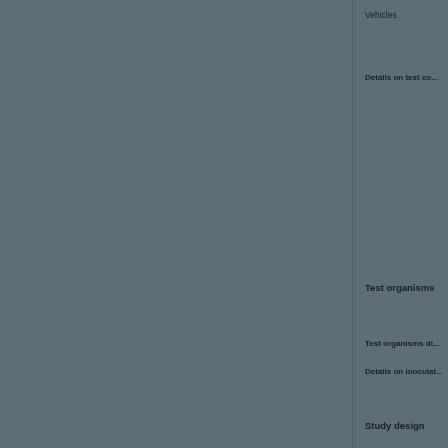Vehicles
Details on test co...
Test organisms
Test organisms di...
Details on inoculation...
Study design